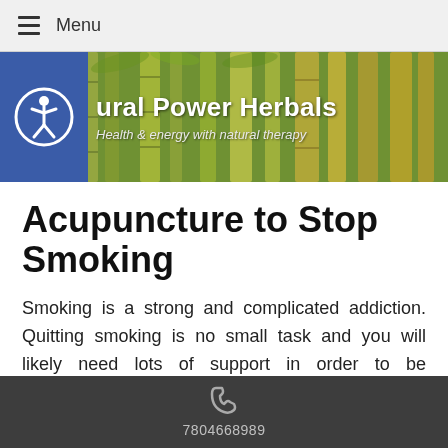Menu
[Figure (screenshot): Website banner with bamboo background, accessibility icon, and brand name 'Natural Power Herbals - Health & energy with natural therapy']
Acupuncture to Stop Smoking
Smoking is a strong and complicated addiction. Quitting smoking is no small task and you will likely need lots of support in order to be successful. You need the best tools to help with the physical and emotional
7804668989